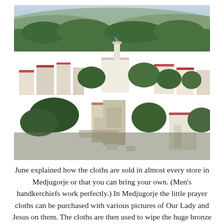[Figure (photo): Aerial view of Medjugorje town showing buildings, a church with bell tower, surrounding green trees and hills in the background]
June explained how the cloths are sold in almost every store in Medjugorje or that you can bring your own. (Men's handkerchiefs work perfectly.) In Medjugorje the little prayer cloths can be purchased with various pictures of Our Lady and Jesus on them. The cloths are then used to wipe the huge bronze Risen Jesus statue which is believed from the bronze. The Risen Jesus statue is